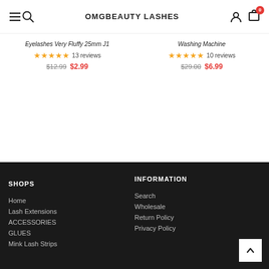OMGBEAUTY LASHES
Eyelashes Very Fluffy 25mm J1 — ★★★★★ 13 reviews — $12.99 $2.99
Washing Machine — ★★★★★ 10 reviews — $29.00 $6.99
SHOPS
Home
Lash Extensions
ACCESSORIES
GLUES
Mink Lash Strips
INFORMATION
Search
Wholesale
Return Policy
Privacy Policy